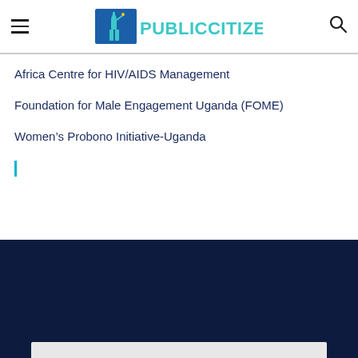Public Citizen
Africa Centre for HIV/AIDS Management
Foundation for Male Engagement Uganda (FOME)
Women's Probono Initiative-Uganda